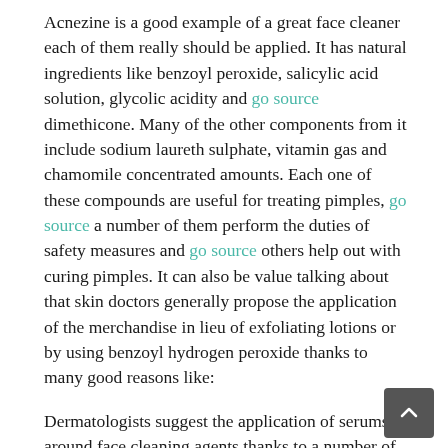Acnezine is a good example of a great face cleaner each of them really should be applied. It has natural ingredients like benzoyl peroxide, salicylic acid solution, glycolic acidity and go source dimethicone. Many of the other components from it include sodium laureth sulphate, vitamin gas and chamomile concentrated amounts. Each one of these compounds are useful for treating pimples, go source a number of them perform the duties of safety measures and go source others help out with curing pimples. It can also be value talking about that skin doctors generally propose the application of the merchandise in lieu of exfoliating lotions or by using benzoyl hydrogen peroxide thanks to many good reasons like:
Dermatologists suggest the application of serums around face cleaning agents thanks to a number of good reasons. Primarily, serums assist in minimizing the look of creases by making skin-soft and simply click the following page soft. Also, they help to keep your skin layer-chemistry in check and...